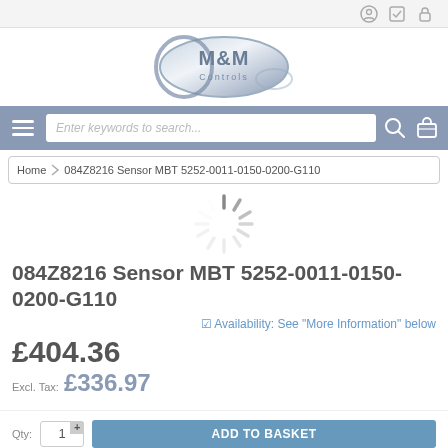M&M Controls — top navigation bar with search
[Figure (logo): M&M Controls oval logo with blue gradient]
Enter keywords to search...
Home › 084Z8216 Sensor MBT 5252-0011-0150-0200-G110
[Figure (other): Loading spinner animation]
084Z8216 Sensor MBT 5252-0011-0150-0200-G110
☑ Availability: See "More Information" below
£404.36
Excl. Tax: £336.97
Qty: 1 [+] ADD TO BASKET